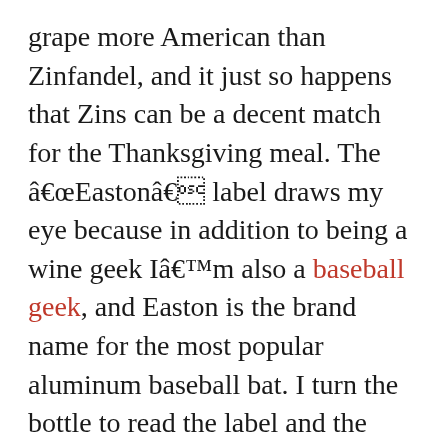grape more American than Zinfandel, and it just so happens that Zins can be a decent match for the Thanksgiving meal. The â€œEastonâ€ label draws my eye because in addition to being a wine geek Iâ€™m also a baseball geek, and Easton is the brand name for the most popular aluminum baseball bat. I turn the bottle to read the label and the wine is from Plymouth, California. Plymouth, as in Plymouth Rock (yes, I know the Mayflower stopped at the Plymouth Rock in Massachusetts ... work with me here). Do I even need to move on to the tasting notes? Itâ€™s already a pickup for Thanksgiving, for nothing more than a conversation piece.